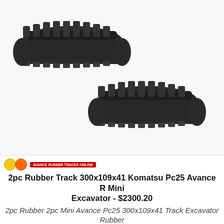[Figure (photo): Two black rubber tracks for a mini excavator (Komatsu Pc25), shown side by side on a white background. The tracks are heavy-duty rubber with tread pattern.]
2pc Rubber Track 300x109x41 Komatsu Pc25 Avance R Mini Excavator - $2300.20
2pc Rubber 2pc Mini Avance Pc25 300x109x41 Track Excavator Rubber
Komatsu R R Mini 2pc Rubber Avance 300x109x41 Track Komatsu Pc25